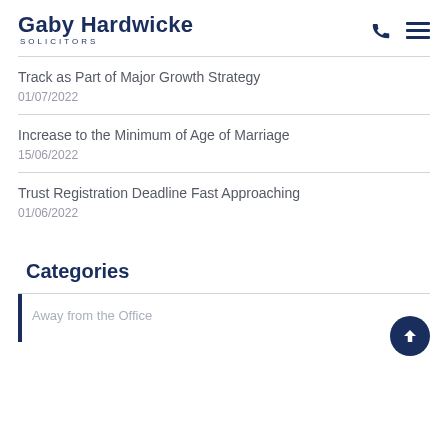Gaby Hardwicke SOLICITORS
Track as Part of Major Growth Strategy
01/07/2022
Increase to the Minimum of Age of Marriage
15/06/2022
Trust Registration Deadline Fast Approaching
01/06/2022
Categories
Away from the Office